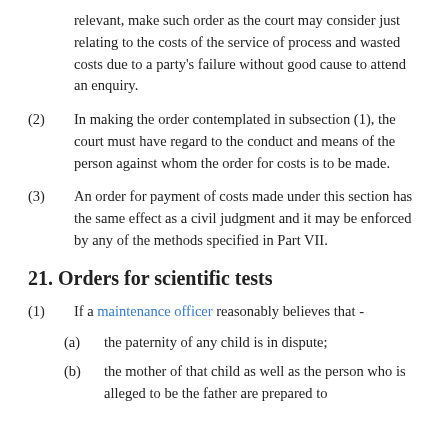relevant, make such order as the court may consider just relating to the costs of the service of process and wasted costs due to a party's failure without good cause to attend an enquiry.
(2) In making the order contemplated in subsection (1), the court must have regard to the conduct and means of the person against whom the order for costs is to be made.
(3) An order for payment of costs made under this section has the same effect as a civil judgment and it may be enforced by any of the methods specified in Part VII.
21. Orders for scientific tests
(1) If a maintenance officer reasonably believes that -
(a) the paternity of any child is in dispute;
(b) the mother of that child as well as the person who is alleged to be the father are prepared to